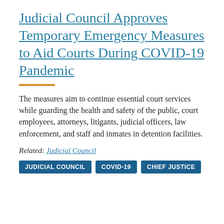Judicial Council Approves Temporary Emergency Measures to Aid Courts During COVID-19 Pandemic
The measures aim to continue essential court services while guarding the health and safety of the public, court employees, attorneys, litigants, judicial officers, law enforcement, and staff and inmates in detention facilities.
Related: Judicial Council
JUDICIAL COUNCIL
COVID-19
CHIEF JUSTICE